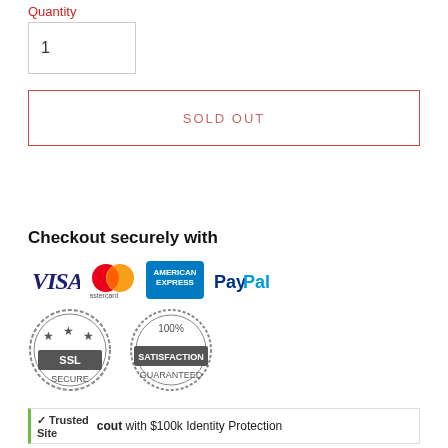Quantity
1
SOLD OUT
Checkout securely with
[Figure (infographic): Payment method logos: VISA, Mastercard, American Express, PayPal]
[Figure (infographic): SSL Secure badge and 100% Satisfaction Guaranteed badge]
cout with $100k Identity Protection